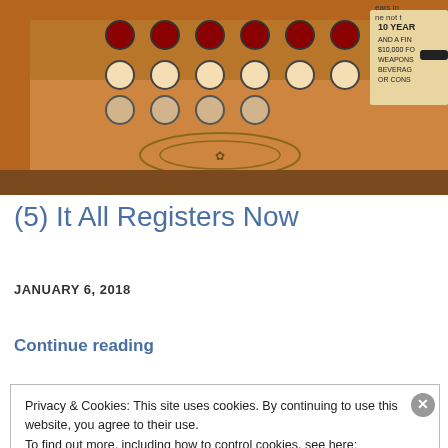[Figure (photo): Close-up photograph of an ornate antique brass/copper cash register with decorative engravings and round keys, with a partially visible warning sign on the right side.]
(5) It All Registers Now
JANUARY 6, 2018
Continue reading
Privacy & Cookies: This site uses cookies. By continuing to use this website, you agree to their use.
To find out more, including how to control cookies, see here:
Cookie Policy
Close and accept